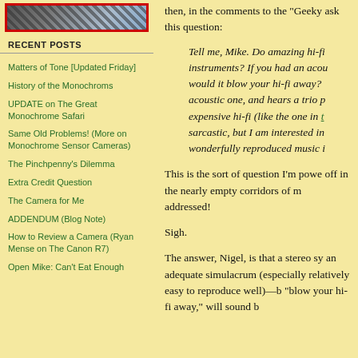[Figure (photo): Partial image visible at top of sidebar, appears to show a person or cat, with red border]
RECENT POSTS
Matters of Tone [Updated Friday]
History of the Monochroms
UPDATE on The Great Monochrome Safari
Same Old Problems! (More on Monochrome Sensor Cameras)
The Pinchpenny's Dilemma
Extra Credit Question
The Camera for Me
ADDENDUM (Blog Note)
How to Review a Camera (Ryan Mense on The Canon R7)
Open Mike: Can't Eat Enough
then, in the comments to the "Geeky ask this question:
Tell me, Mike. Do amazing hi-fi instruments? If you had an acou would it blow your hi-fi away? acoustic one, and hears a trio p expensive hi-fi (like the one in t sarcastic, but I am interested in wonderfully reproduced music i
This is the sort of question I'm powe off in the nearly empty corridors of m addressed!
Sigh.
The answer, Nigel, is that a stereo sy an adequate simulacrum (especially relatively easy to reproduce well)—b "blow your hi-fi away," will sound b